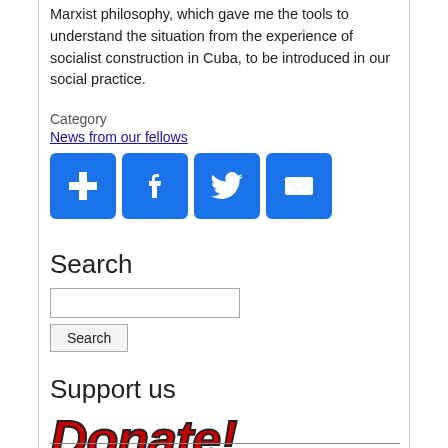Marxist philosophy, which gave me the tools to understand the situation from the experience of socialist construction in Cuba, to be introduced in our social practice.
Category
News from our fellows
[Figure (infographic): Four social sharing icon buttons: Google+, Facebook, Twitter, Email — blue rounded square buttons with white icons]
Search
[Figure (other): Search input box and Search button]
Support us
[Figure (illustration): Donate! banner image with bold red italic text 'Donate!' and subtitle 'the IIRE's work wouldn't be possible without your generous support']